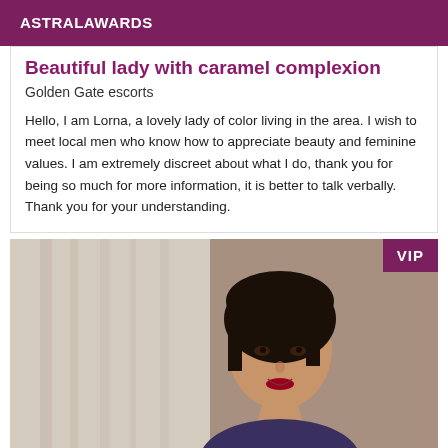ASTRALAWARDS
Beautiful lady with caramel complexion
Golden Gate escorts
Hello, I am Lorna, a lovely lady of color living in the area. I wish to meet local men who know how to appreciate beauty and feminine values. I am extremely discreet about what I do, thank you for being so much for more information, it is better to talk verbally. Thank you for your understanding.
[Figure (photo): Photo of a woman with short dark hair, smiling, wearing dark clothing, with a curtained background. A VIP badge appears in the top-right corner.]